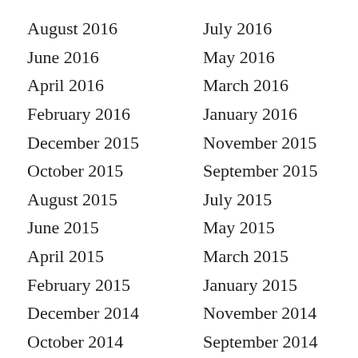August 2016
July 2016
June 2016
May 2016
April 2016
March 2016
February 2016
January 2016
December 2015
November 2015
October 2015
September 2015
August 2015
July 2015
June 2015
May 2015
April 2015
March 2015
February 2015
January 2015
December 2014
November 2014
October 2014
September 2014
August 2014
July 2014